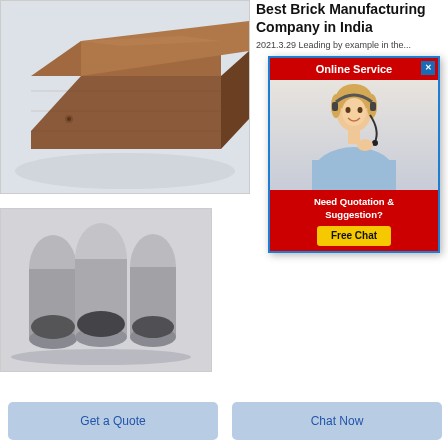[Figure (photo): A brown refractory brick on a white/grey background]
Best Brick Manufacturing Company in India
2021.3.29 Leading by example in the...
[Figure (infographic): Online Service popup with woman wearing headset, red header 'Online Service', close button, 'Need Quotation & Suggestion?' text and 'Free Chat' yellow button]
[Figure (photo): Three bullet-shaped containers filled with dark grey powder material]
Get a Quote
Chat Now